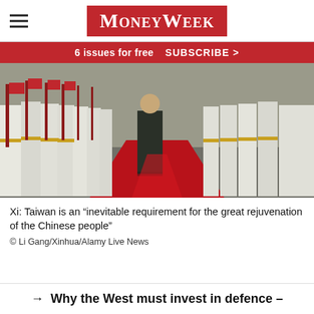MoneyWeek
6 issues for free   SUBSCRIBE >
[Figure (photo): Military honor guard in white uniforms with rifles lined up beside a red carpet; a figure in dark suit walks along the red carpet at a ceremony.]
Xi: Taiwan is an “inevitable requirement for the great rejuvenation of the Chinese people”
© Li Gang/Xinhua/Alamy Live News
→  Why the West must invest in defence –